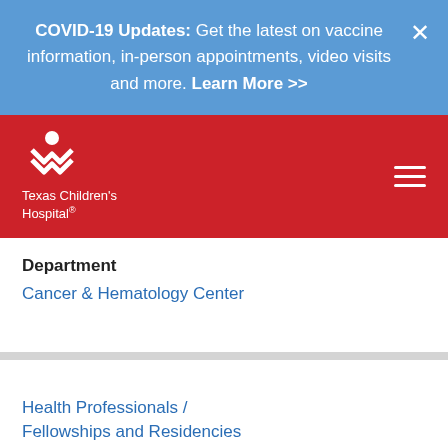COVID-19 Updates: Get the latest on vaccine information, in-person appointments, video visits and more. Learn More >>
[Figure (logo): Texas Children's Hospital logo — white stylized figure/chevron icon above text 'Texas Children's Hospital']
Department
Cancer & Hematology Center
Health Professionals /
Fellowships and Residencies